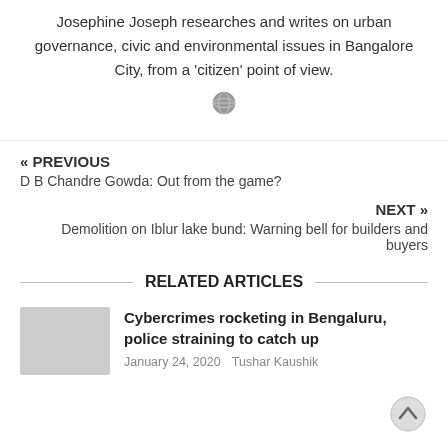Josephine Joseph researches and writes on urban governance, civic and environmental issues in Bangalore City, from a 'citizen' point of view.
[Figure (illustration): Globe/world icon]
« PREVIOUS
D B Chandre Gowda: Out from the game?
NEXT »
Demolition on Iblur lake bund: Warning bell for builders and buyers
RELATED ARTICLES
Cybercrimes rocketing in Bengaluru, police straining to catch up
January 24, 2020   Tushar Kaushik